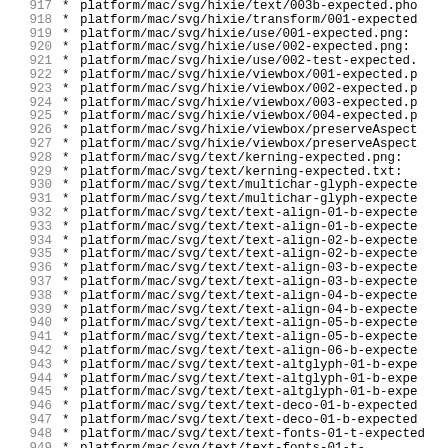917  * platform/mac/svg/hixie/text/003b-expected.png
918  * platform/mac/svg/hixie/transform/001-expected
919  * platform/mac/svg/hixie/use/001-expected.png:
920  * platform/mac/svg/hixie/use/002-expected.png:
921  * platform/mac/svg/hixie/use/002-test-expected.
922  * platform/mac/svg/hixie/viewbox/001-expected.p
923  * platform/mac/svg/hixie/viewbox/002-expected.p
924  * platform/mac/svg/hixie/viewbox/003-expected.p
925  * platform/mac/svg/hixie/viewbox/004-expected.p
926  * platform/mac/svg/hixie/viewbox/preserveAspect
927  * platform/mac/svg/hixie/viewbox/preserveAspect
928  * platform/mac/svg/text/kerning-expected.png:
929  * platform/mac/svg/text/kerning-expected.txt:
930  * platform/mac/svg/text/multichar-glyph-expecte
931  * platform/mac/svg/text/multichar-glyph-expecte
932  * platform/mac/svg/text/text-align-01-b-expecte
933  * platform/mac/svg/text/text-align-01-b-expecte
934  * platform/mac/svg/text/text-align-02-b-expecte
935  * platform/mac/svg/text/text-align-02-b-expecte
936  * platform/mac/svg/text/text-align-03-b-expecte
937  * platform/mac/svg/text/text-align-03-b-expecte
938  * platform/mac/svg/text/text-align-04-b-expecte
939  * platform/mac/svg/text/text-align-04-b-expecte
940  * platform/mac/svg/text/text-align-05-b-expecte
941  * platform/mac/svg/text/text-align-05-b-expecte
942  * platform/mac/svg/text/text-align-06-b-expecte
943  * platform/mac/svg/text/text-altglyph-01-b-expe
944  * platform/mac/svg/text/text-altglyph-01-b-expe
945  * platform/mac/svg/text/text-altglyph-01-b-expe
946  * platform/mac/svg/text/text-deco-01-b-expected
947  * platform/mac/svg/text/text-deco-01-b-expected
948  * platform/mac/svg/text/text-fonts-01-t-expected
949  * platform/mac/svg/text/text-fonts-01-t-